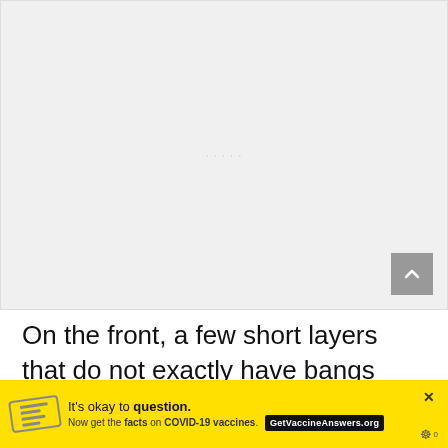[Figure (photo): Large rectangular image area, mostly white/light gray, appears to be a loading or placeholder image of a hairstyle photo]
On the front, a few short layers that do not exactly have bangs have been pulled to
[Figure (screenshot): Yellow advertisement bar at the bottom: 'It's okay to question. Now get the facts on COVID-19 vaccines. GetVaccineAnswers.org' with a close X button and website icon]